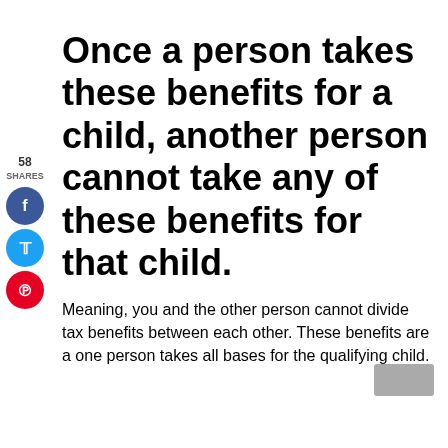Once a person takes these benefits for a child, another person cannot take any of these benefits for that child.
[Figure (infographic): Social sharing widget with share count '58 SHARES', Facebook (blue), Twitter (blue), and Pinterest (red) circular buttons on the left side]
Meaning, you and the other person cannot divide tax benefits between each other. These benefits are a one person takes all bases for the qualifying child.